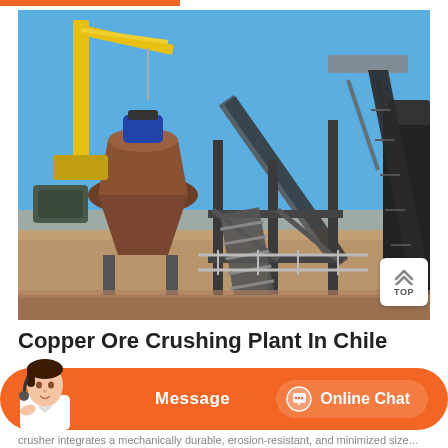[Figure (photo): Copper ore crushing plant in Chile — industrial mining site with cone crusher, conveyor belts, steel frame structures, crane, under clear blue sky]
Copper Ore Crushing Plant In Chile
[Figure (other): Website chat bar with agent avatar, Message button, and Online Chat button on orange background]
crusher integrates a mechanically durable, erosion-resistant, and minimized size